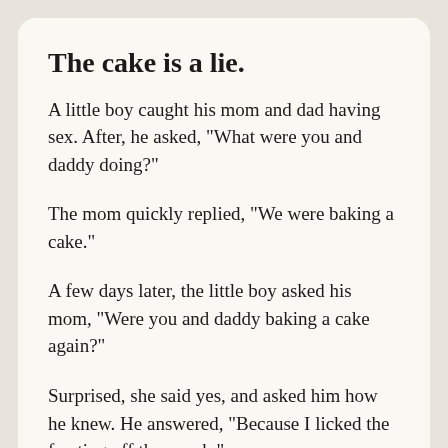The cake is a lie.
A little boy caught his mom and dad having sex. After, he asked, "What were you and daddy doing?"
The mom quickly replied, "We were baking a cake."
A few days later, the little boy asked his mom, "Were you and daddy baking a cake again?"
Surprised, she said yes, and asked him how he knew. He answered, "Because I licked the frosting off the couch."